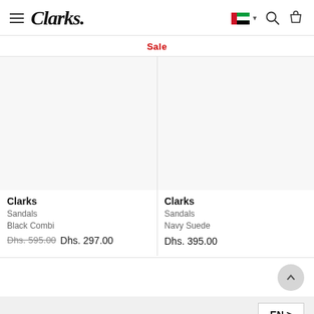Clarks — UAE store header with hamburger menu, logo, UAE flag selector, search icon, and bag icon
Sale
[Figure (photo): Product image placeholder for Clarks Sandals Black Combi]
Clarks
Sandals
Black Combi
Dhs. 595.00  Dhs. 297.00
[Figure (photo): Product image placeholder for Clarks Sandals Navy Suede]
Clarks
Sandals
Navy Suede
Dhs. 395.00
EN >